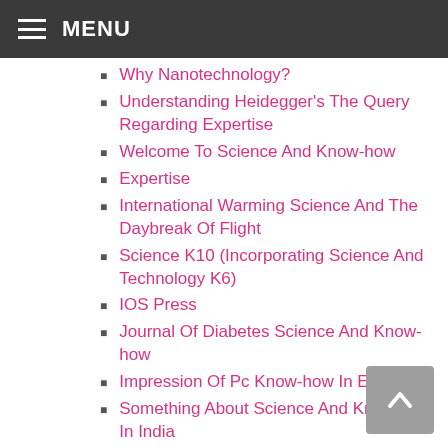MENU
Why Nanotechnology?
Understanding Heidegger's The Query Regarding Expertise
Welcome To Science And Know-how
Expertise
International Warming Science And The Daybreak Of Flight
Science K10 (Incorporating Science And Technology K6)
IOS Press
Journal Of Diabetes Science And Know-how
Impression Of Pc Know-how In Education
Something About Science And Know-how In India